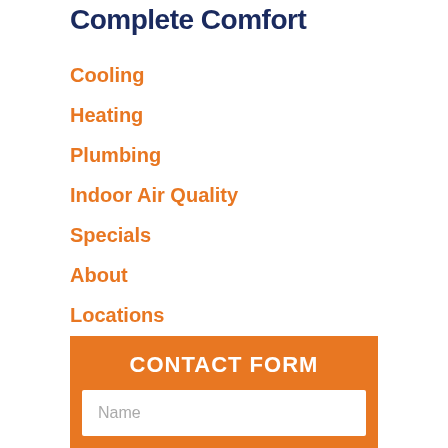Complete Comfort
Cooling
Heating
Plumbing
Indoor Air Quality
Specials
About
Locations
CONTACT FORM
Name